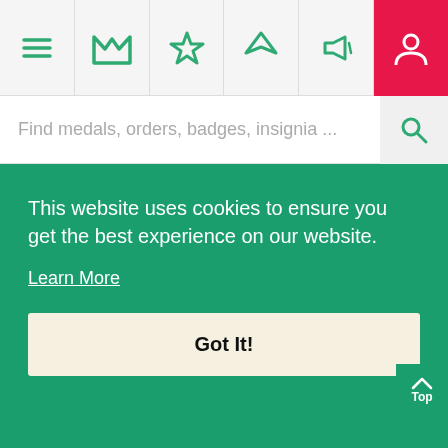[Figure (screenshot): Navigation bar with hamburger menu, M logo, star, location arrow, megaphone icons, and user icon on pink/red background]
Find medals, orders, badges, insignia ...
KNIGHT (IN GOLD)
KNIGHT (IN SILVER GILT)
Price
$2,500 USD
Price
$1,400 USD
Composition
Gold/Enamelled
Composition
Silver gilt/Enamelled
This website uses cookies to ensure you get the best experience on our website.
Learn More
Got It!
458 were awarded (including
458 were awarded (including